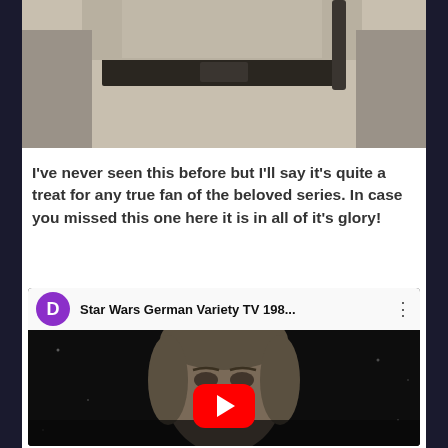[Figure (photo): Cropped photo showing the lower torso of a person in a tan/beige Star Wars tunic with a dark belt and lightsaber hilt visible at the right]
I've never seen this before but I'll say it's quite a treat for any true fan of the beloved series. In case you missed this one here it is in all of it's glory!
[Figure (screenshot): YouTube video embed showing 'Star Wars German Variety TV 198...' with a purple avatar circle with letter D, three-dot menu, and a dark thumbnail showing a face with a YouTube play button]